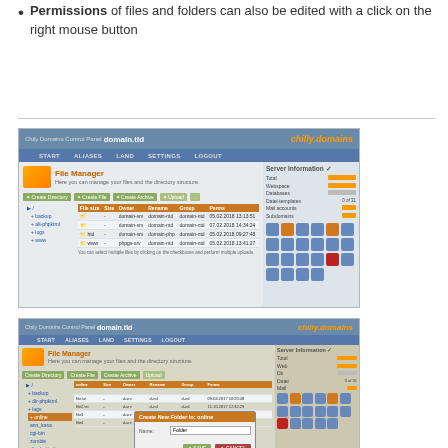Permissions of files and folders can also be edited with a click on the right mouse button
[Figure (screenshot): Chily Domains Control Panel File Manager screenshot showing file listing with orange toolbar and icon panel on right]
[Figure (screenshot): Chily Domains Control Panel File Manager screenshot showing folder contents with a Create New Folder dialog box open]